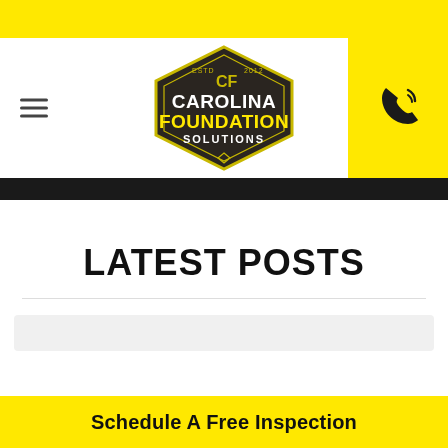[Figure (logo): Carolina Foundation Solutions hexagon logo with yellow text on dark background]
LATEST POSTS
Schedule A Free Inspection